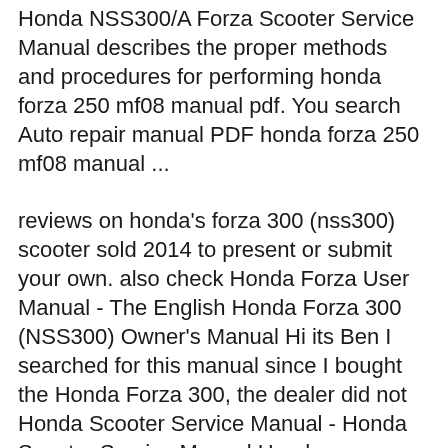Honda NSS300/A Forza Scooter Service Manual describes the proper methods and procedures for performing honda forza 250 mf08 manual pdf. You search Auto repair manual PDF honda forza 250 mf08 manual ...
reviews on honda's forza 300 (nss300) scooter sold 2014 to present or submit your own. also check Honda Forza User Manual - The English Honda Forza 300 (NSS300) Owner's Manual Hi its Ben I searched for this manual since I bought the Honda Forza 300, the dealer did not Honda Scooter Service Manual - Honda Scooter Service Manual Honda Motorcycle Find helpful customer reviews and review ratings for 61K0402